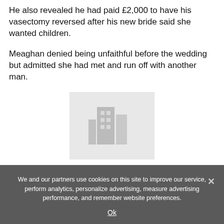He also revealed he had paid £2,000 to have his vasectomy reversed after his new bride said she wanted children.
Meaghan denied being unfaithful before the wedding but admitted she had met and run off with another man.
[Figure (photo): A faded/placeholder image, appears to be a person silhouette or building image, shown in light grey tones]
Mayor removes Gainsborough painting of 18th century...
We and our partners use cookies on this site to improve our service, perform analytics, personalize advertising, measure advertising performance, and remember website preferences.
Ok